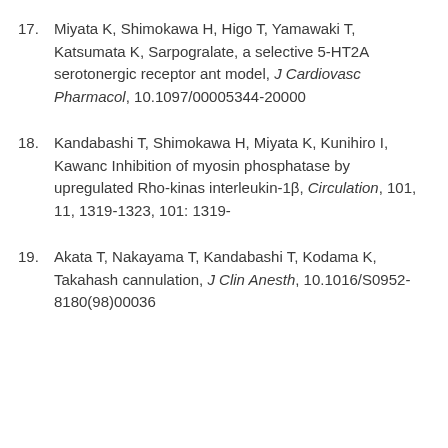17. Miyata K, Shimokawa H, Higo T, Yamawaki T, Katsumata K, ... Sarpogralate, a selective 5-HT2A serotonergic receptor ant... model, J Cardiovasc Pharmacol, 10.1097/00005344-20000...
18. Kandabashi T, Shimokawa H, Miyata K, Kunihiro I, Kawanc... Inhibition of myosin phosphatase by upregulated Rho-kinas... interleukin-1β, Circulation, 101, 11, 1319-1323, 101: 1319-...
19. Akata T, Nakayama T, Kandabashi T, Kodama K, Takahash... cannulation, J Clin Anesth, 10.1016/S0952-8180(98)00036...
Unauthorized reprint of the